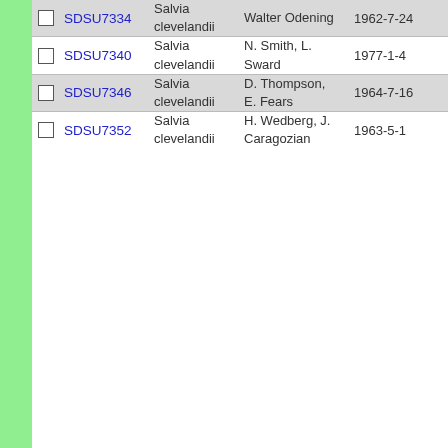|  | ID | Species | Collector | Date |
| --- | --- | --- | --- | --- |
| ☐ | SDSU7334 | Salvia clevelandii | Walter Odening | 1962-7-24 |
| ☐ | SDSU7340 | Salvia clevelandii | N. Smith, L. Sward | 1977-1-4 |
| ☐ | SDSU7346 | Salvia clevelandii | D. Thompson, E. Fears | 1964-7-16 |
| ☐ | SDSU7352 | Salvia clevelandii | H. Wedberg, J. Caragozian | 1963-5-1 |